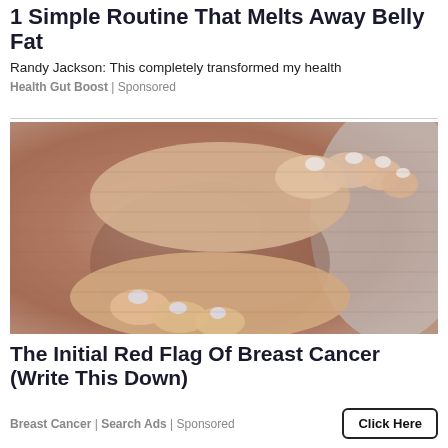1 Simple Routine That Melts Away Belly Fat
Randy Jackson: This completely transformed my health
Health Gut Boost | Sponsored
[Figure (photo): Close-up photo of a person's hands with light pink/white painted nails clutching their midsection/belly area, wearing a mauve ribbed top]
The Initial Red Flag Of Breast Cancer (Write This Down)
Breast Cancer | Search Ads | Sponsored
Click Here